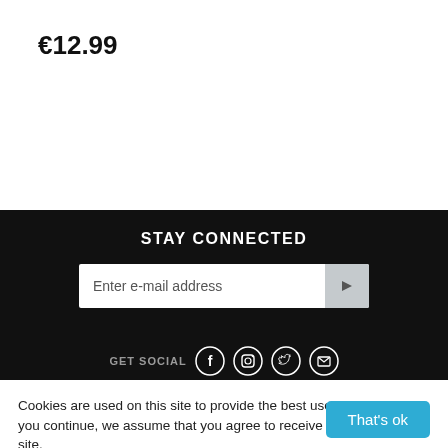€12.99
STAY CONNECTED
[Figure (screenshot): Email subscription input field with placeholder text 'Enter e-mail address' and a submit button with a right-arrow icon, on a dark background]
[Figure (screenshot): GET SOCIAL label with four social media icons (Facebook, Instagram, Twitter, and one more) on dark background]
Cookies are used on this site to provide the best user experience. If you continue, we assume that you agree to receive cookies from this site.
That's ok